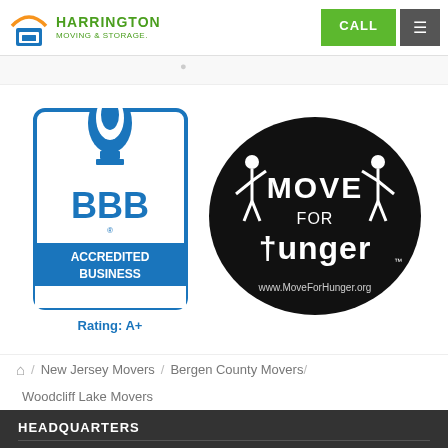Harrington Moving & Storage | CALL
[Figure (logo): BBB Accredited Business logo with Rating A+]
[Figure (logo): Move For Hunger logo - black oval with stick figures, www.MoveForHunger.org]
/ New Jersey Movers / Bergen County Movers / Woodcliff Lake Movers
HEADQUARTERS
202 Rutgers Street
Maplewood, NJ 07040